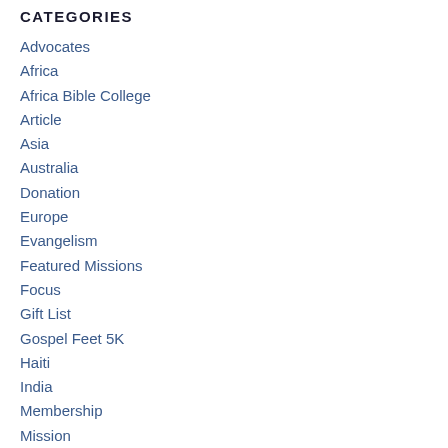CATEGORIES
Advocates
Africa
Africa Bible College
Article
Asia
Australia
Donation
Europe
Evangelism
Featured Missions
Focus
Gift List
Gospel Feet 5K
Haiti
India
Membership
Mission
Missions Week
Music